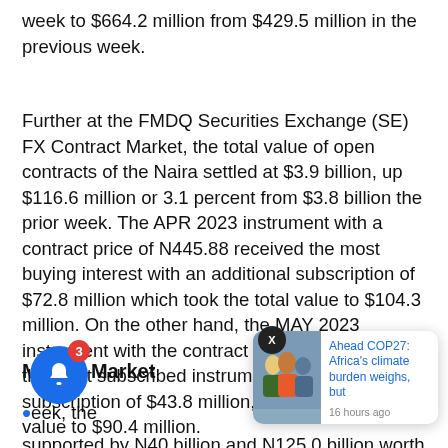week to $664.2 million from $429.5 million in the previous week.
Further at the FMDQ Securities Exchange (SE) FX Contract Market, the total value of open contracts of the Naira settled at $3.9 billion, up $116.6 million or 3.1 percent from $3.8 billion the prior week. The APR 2023 instrument with a contract price of N445.88 received the most buying interest with an additional subscription of $72.8 million which took the total value to $104.3 million. On the other hand, the MAY 2023 instrument with the contract price of N448.59 was the least subscribed instrument with an additional subscription of $43.8 million, bringing the total value to $90.4 million.
Money Market
In the week, the … supported by N40 billion and N125.0 billion worth of maturities inflows from the OMO and T-bills spaces.
[Figure (photo): News popup card showing a group photo of people with headline 'Ahead COP27: Africa's climate burden weighs, but' published 16 hours ago]